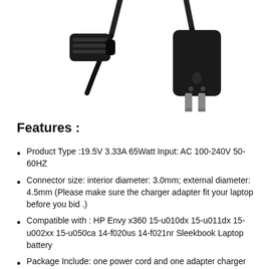[Figure (photo): Product photo showing two electrical connectors/plugs: a figure-8 (C7) style power connector on the left and a US two-prong flat plug on the right, both black, connected by a cable, on a white background.]
Features :
Product Type :19.5V 3.33A 65Watt Input: AC 100-240V 50-60HZ
Connector size: interior diameter: 3.0mm; external diameter: 4.5mm (Please make sure the charger adapter fit your laptop before you bid .)
Compatible with : HP Envy x360 15-u010dx 15-u011dx 15-u002xx 15-u050ca 14-f020us 14-f021nr Sleekbook Laptop battery
Package Include: one power cord and one adapter charger
If any quality issues with the product within 12 months, please